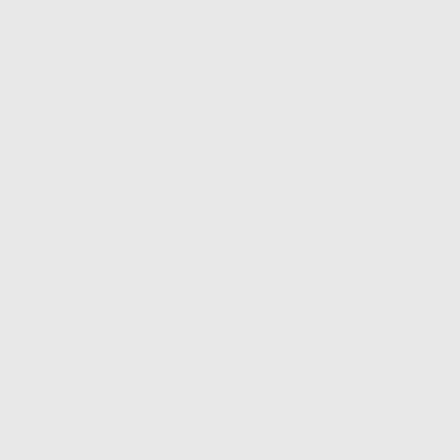<!-- [et_pb_line_break_holder] --> <td>2</td><!--
[et_pb_line_break_holder] --> <td>1</td><!--
[et_pb_line_break_holder] --> <td>4</td><!--
[et_pb_line_break_holder] --> <td>8</td><!--
[et_pb_line_break_holder] --> </tr><!--
[et_pb_line_break_holder] --> <!--
[et_pb_line_break_holder] --> <tr><!--
[et_pb_line_break_holder] --> <td>Diseños al Mes</td>
<!-- [et_pb_line_break_holder] --> <td>3</td><!--
[et_pb_line_break_holder] --> <td>8</td><!--
[et_pb_line_break_holder] --> <td>5</td><!--
[et_pb_line_break_holder] --> <td>10</td><!--
[et_pb_line_break_holder] --> </tr><!--
[et_pb_line_break_holder] --> <!--
[et_pb_line_break_holder] --> <tr><!--
[et_pb_line_break_holder] --> <td>Sesión<!--
[et_pb_line_break_holder] -->fotográfica al Mes</td><!--
- [et_pb_line_break_holder] --> <td>1</td><!--
[et_pb_line_break_holder] --> <td><img